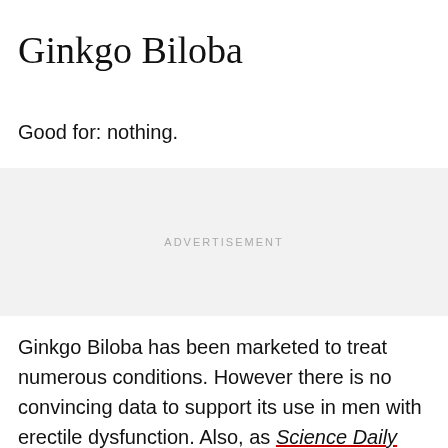Ginkgo Biloba
Good for: nothing.
[Figure (other): Advertisement placeholder box with light gray background and 'ADVERTISEMENT' label]
Ginkgo Biloba has been marketed to treat numerous conditions. However there is no convincing data to support its use in men with erectile dysfunction. Also, as Science Daily reports, “It can cause headaches,